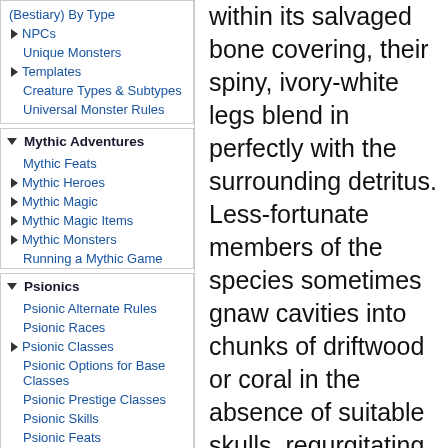(Bestiary) By Type
NPCs
Unique Monsters
Templates
Creature Types & Subtypes
Universal Monster Rules
Mythic Adventures
Mythic Feats
Mythic Heroes
Mythic Magic
Mythic Magic Items
Mythic Monsters
Running a Mythic Game
Psionics
Psionic Alternate Rules
Psionic Races
Psionic Classes
Psionic Options for Base Classes
Psionic Prestige Classes
Psionic Skills
Psionic Feats
Psionic Equipment
within its salvaged bone covering, their spiny, ivory-white legs blend in perfectly with the surrounding detritus. Less-fortunate members of the species sometimes gnaw cavities into chunks of driftwood or coral in the absence of suitable skulls, regurgitating a type of lime to cement bits of shell and debris to their portable homes. Such unfortunates eagerly fight others of their kind to gain possession of choice skulls.
Voracious scavengers, bone crabs live in seaside crags and coves near coastal communities where they use their specialized chelae to crack open the skulls of